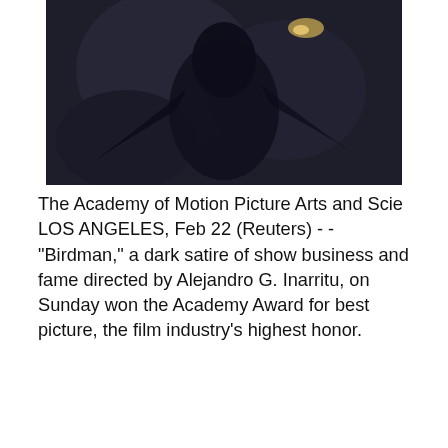[Figure (photo): Dark moody photo of a person or bird silhouette against a dark blurred background with a small light glint]
The Academy of Motion Picture Arts and Scie LOS ANGELES, Feb 22 (Reuters) - - "Birdman," a dark satire of show business and fame directed by Alejandro G. Inarritu, on Sunday won the Academy Award for best picture, the film industry's highest honor.
[Figure (photo): Street-level view looking up between tall brick buildings with fire escapes on a city street, bright sky visible above]